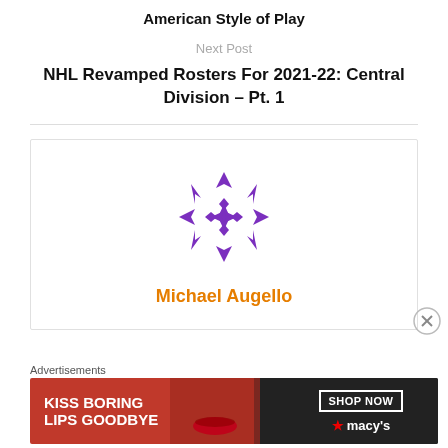American Style of Play
Next Post
NHL Revamped Rosters For 2021-22: Central Division – Pt. 1
[Figure (logo): Author card with purple geometric snowflake/star logo and author name 'Michael Augello' in orange]
Advertisements
[Figure (photo): Macy's advertisement banner: 'KISS BORING LIPS GOODBYE' with woman's face and red lips, SHOP NOW button and Macy's star logo]